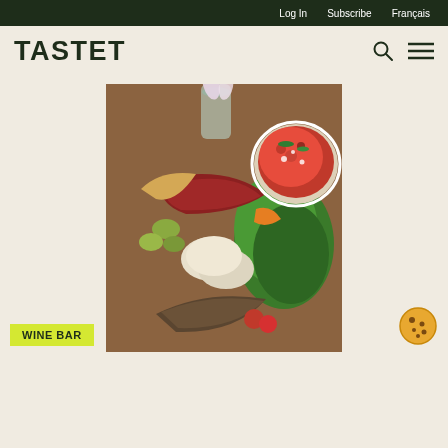Log In   Subscribe   Français
TASTET
[Figure (photo): Overhead view of a charcuterie/mezze board with cured meats, mozzarella, olives, arugula salad, a strawberry tart, and various accompaniments on a wooden board, with a vase of white tulips in the background.]
WINE BAR